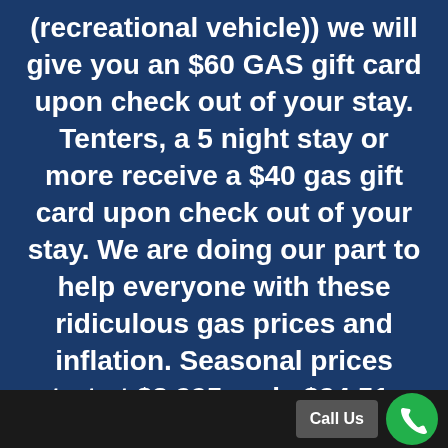(recreational vehicle)) we will give you an $60 GAS gift card upon check out of your stay. Tenters, a 5 night stay or more receive a $40 gas gift card upon check out of your stay. We are doing our part to help everyone with these ridiculous gas prices and inflation. Seasonal prices start at $3,995. only $24.51 a night, prorated for when you bring your RV in. We look forward to seeing you soon! Please scroll up to see the rest of our Website.
Call Us